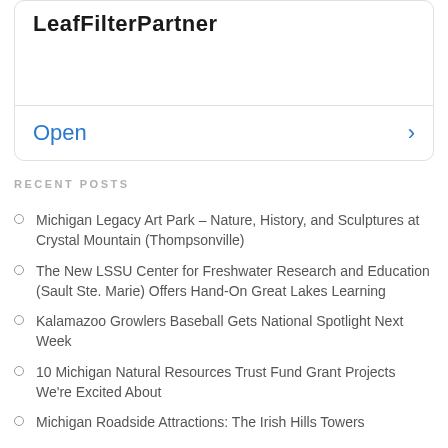LeafFilterPartner
Open
RECENT POSTS
Michigan Legacy Art Park – Nature, History, and Sculptures at Crystal Mountain (Thompsonville)
The New LSSU Center for Freshwater Research and Education (Sault Ste. Marie) Offers Hand-On Great Lakes Learning
Kalamazoo Growlers Baseball Gets National Spotlight Next Week
10 Michigan Natural Resources Trust Fund Grant Projects We're Excited About
Michigan Roadside Attractions: The Irish Hills Towers